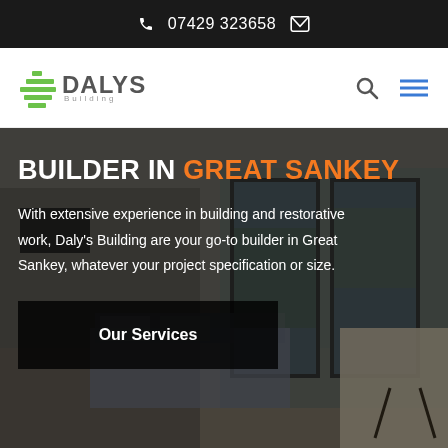📞 07429 323658 ✉
[Figure (logo): Dalys Building logo with green diagonal stripes and company name]
BUILDER IN GREAT SANKEY
With extensive experience in building and restorative work, Daly's Building are your go-to builder in Great Sankey, whatever your project specification or size.
Our Services